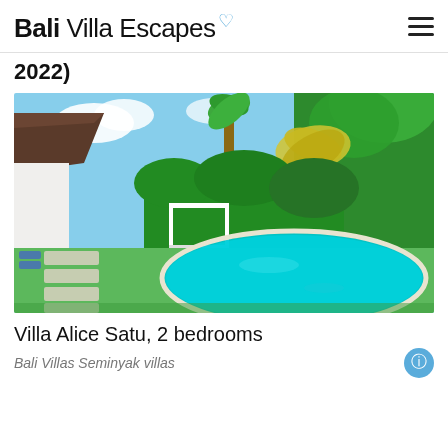Bali Villa Escapes
2022)
[Figure (photo): Outdoor villa photo showing a turquoise oval swimming pool surrounded by lush tropical greenery, palm trees, green lawn with stepping stone path, and a white pergola structure. Balinese-style roof visible on left, bright blue sky above.]
Villa Alice Satu, 2 bedrooms
Bali Villas  Seminyak villas